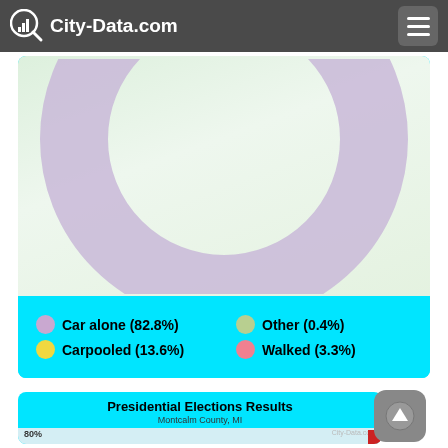City-Data.com
[Figure (donut-chart): Means of transportation to work]
[Figure (bar-chart): Presidential Elections Results - Montcalm County, MI. Partial view showing 80% gridline and beginning of chart.]